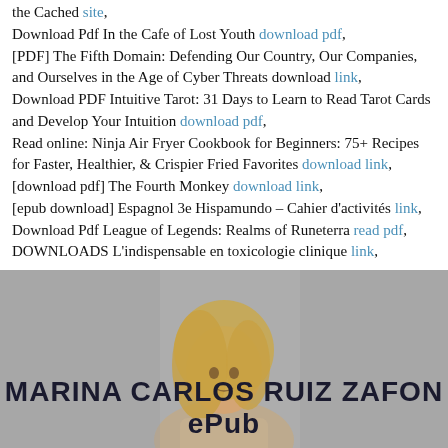the Cached site,
Download Pdf In the Cafe of Lost Youth download pdf,
[PDF] The Fifth Domain: Defending Our Country, Our Companies, and Ourselves in the Age of Cyber Threats download link,
Download PDF Intuitive Tarot: 31 Days to Learn to Read Tarot Cards and Develop Your Intuition download pdf,
Read online: Ninja Air Fryer Cookbook for Beginners: 75+ Recipes for Faster, Healthier, &amp; Crispier Fried Favorites download link,
[download pdf] The Fourth Monkey download link,
[epub download] Espagnol 3e Hispamundo – Cahier d'activités link,
Download Pdf League of Legends: Realms of Runeterra read pdf,
DOWNLOADS L'indispensable en toxicologie clinique link,
[Figure (photo): Photo of a woman with blonde hair, overlaid with the text 'MARINA CARLOS RUIZ ZAFON ePub']